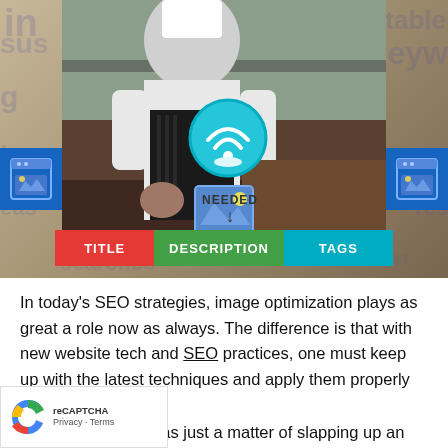[Figure (infographic): An infographic showing a chef cooking in a restaurant kitchen, with word cloud background containing SEO-related words. Two blue browser window icons on left and right sides. A teal WiFi/SEO circular icon overlaid on the chef. A smaller image placeholder icon below. Text label NEEDED with a downward arrow, and three colored buttons labeled TITLE (red), DESCRIPTION (green), TAGS (cyan).]
In today's SEO strategies, image optimization plays as great a role now as always. The difference is that with new website tech and SEO practices, one must keep up with the latest techniques and apply them properly for maximum effect.
In the old days, it was just a matter of slapping up an